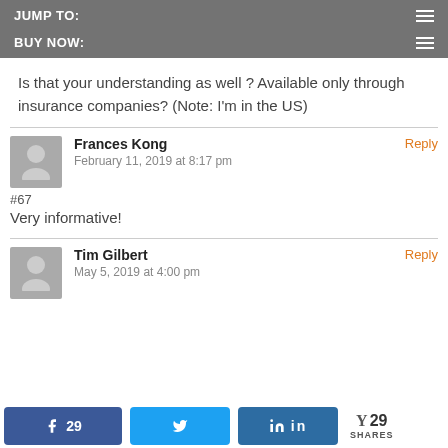JUMP TO:
BUY NOW:
Is that your understanding as well ? Available only through insurance companies? (Note: I'm in the US)
Frances Kong
February 11, 2019 at 8:17 pm
#67
Very informative!
Tim Gilbert
May 5, 2019 at 4:00 pm